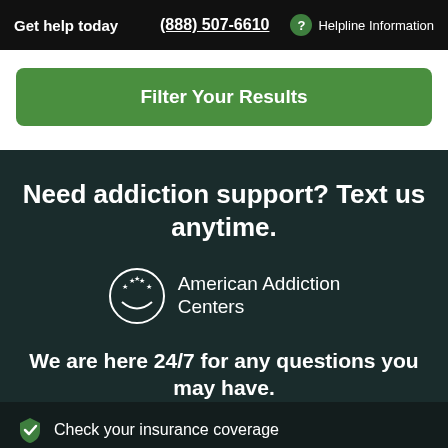Get help today   (888) 507-6610   ? Helpline Information
Filter Your Results
Need addiction support? Text us anytime.
[Figure (logo): American Addiction Centers circular logo with stars and smile arc, next to the text 'American AddictionCenters']
We are here 24/7 for any questions you may have.
Check your insurance coverage